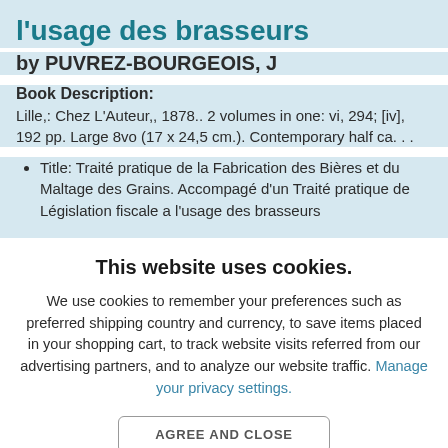l'usage des brasseurs
by PUVREZ-BOURGEOIS, J
Book Description:
Lille,: Chez L'Auteur,, 1878.. 2 volumes in one: vi, 294; [iv], 192 pp. Large 8vo (17 x 24,5 cm.). Contemporary half ca...
Title: Traité pratique de la Fabrication des Bières et du Maltage des Grains. Accompagé d'un Traité pratique de Législation fiscale a l'usage des brasseurs
This website uses cookies.
We use cookies to remember your preferences such as preferred shipping country and currency, to save items placed in your shopping cart, to track website visits referred from our advertising partners, and to analyze our website traffic. Manage your privacy settings.
AGREE AND CLOSE